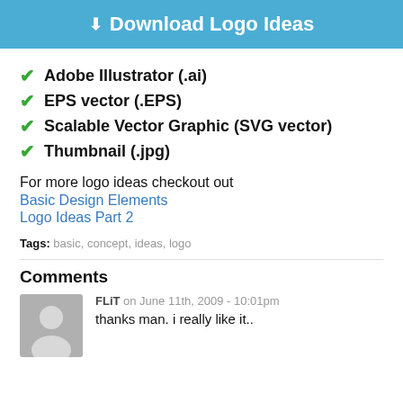⬇ Download Logo Ideas
Adobe Illustrator (.ai)
EPS vector (.EPS)
Scalable Vector Graphic (SVG vector)
Thumbnail (.jpg)
For more logo ideas checkout out
Basic Design Elements
Logo Ideas Part 2
Tags: basic, concept, ideas, logo
Comments
FLiT on June 11th, 2009 - 10:01pm
thanks man. i really like it..